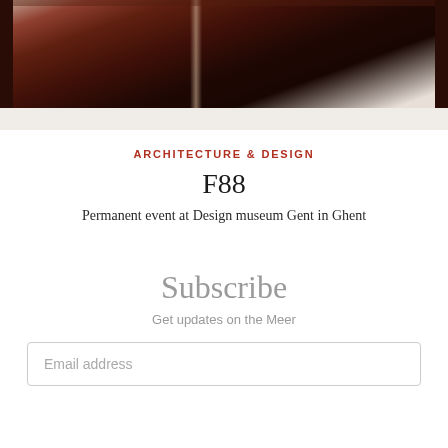[Figure (photo): Dark brown/maroon photograph showing a person in formal attire, cropped at top, with a light streak in the middle. Bottom portion fades to light beige/gray.]
ARCHITECTURE & DESIGN
F88
Permanent event at Design museum Gent in Ghent
Subscribe
Get updates on the Meer
Email address